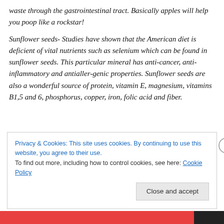waste through the gastrointestinal tract. Basically apples will help you poop like a rockstar!
Sunflower seeds- Studies have shown that the American diet is deficient of vital nutrients such as selenium which can be found in sunflower seeds. This particular mineral has anti-cancer, anti-inflammatory and antialler-genic properties. Sunflower seeds are also a wonderful source of protein, vitamin E, magnesium, vitamins B1,5 and 6, phosphorus, copper, iron, folic acid and fiber.
Privacy & Cookies: This site uses cookies. By continuing to use this website, you agree to their use. To find out more, including how to control cookies, see here: Cookie Policy
Close and accept